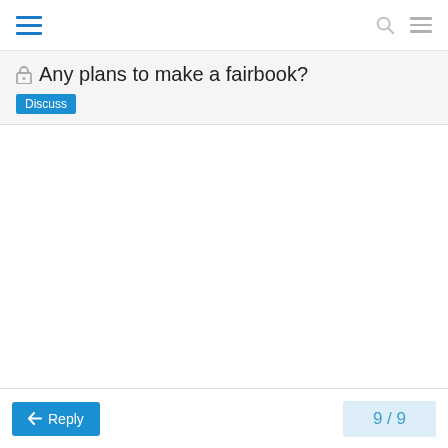Navigation bar with hamburger menu, search icon, and menu icon
🔒 Any plans to make a fairbook?
Discuss
9 / 9
Reply